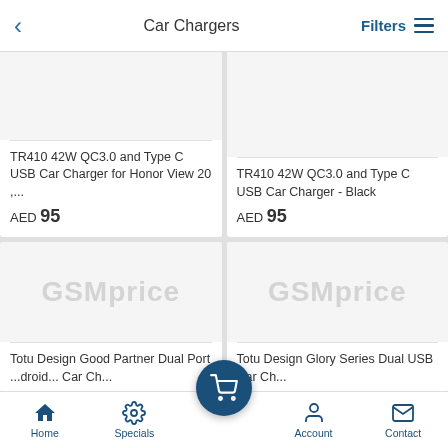Car Chargers
TR410 42W QC3.0 and Type C USB Car Charger for Honor View 20 ,... AED 95
TR410 42W QC3.0 and Type C USB Car Charger - Black AED 95
[Figure (screenshot): Product image placeholder with GSMprice watermark for Totu Design Good Partner Dual Port car charger]
[Figure (screenshot): Product image placeholder with GSMprice watermark for Totu Design Glory Series Dual USB car charger]
Totu Design Good Partner Dual Port ...droid... Car Ch...
Totu Design Glory Series Dual USB Car Ch...
Home  Specials  Account  Contact